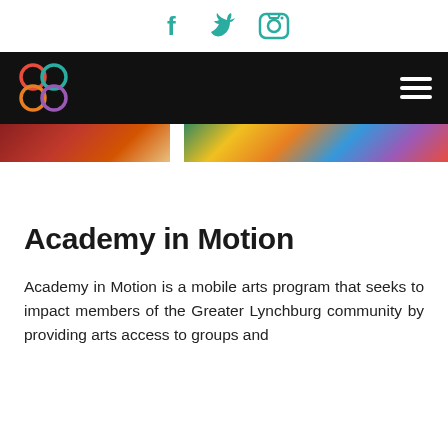[Figure (other): Social media icons: Facebook (f), Twitter (bird), Instagram (camera) in teal color]
[Figure (logo): Navigation bar with academy logo (four interlocking colored circles) on black background and hamburger menu icon on the right]
[Figure (photo): Hero image strip showing colorful crowd/event photos]
Academy in Motion
Academy in Motion is a mobile arts program that seeks to impact members of the Greater Lynchburg community by providing arts access to groups and